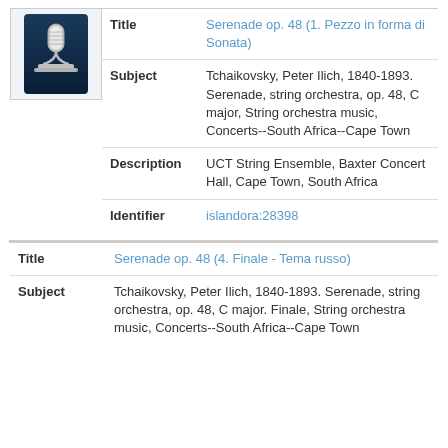[Figure (illustration): Microphone icon on dark blue background]
| Field | Value |
| --- | --- |
| Title | Serenade op. 48 (1. Pezzo in forma di Sonata) |
| Subject | Tchaikovsky, Peter Ilich, 1840-1893. Serenade, string orchestra, op. 48, C major, String orchestra music, Concerts--South Africa--Cape Town |
| Description | UCT String Ensemble, Baxter Concert Hall, Cape Town, South Africa |
| Identifier | islandora:28398 |
| Field | Value |
| --- | --- |
| Title | Serenade op. 48 (4. Finale - Tema russo) |
| Subject | Tchaikovsky, Peter Ilich, 1840-1893. Serenade, string orchestra, op. 48, C major. Finale, String orchestra music, Concerts--South Africa--Cape Town |